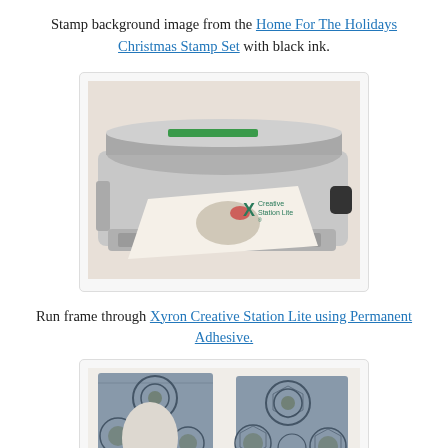Stamp background image from the Home For The Holidays Christmas Stamp Set with black ink.
[Figure (photo): Photo of a Xyron Creative Station Lite machine with a stamped paper frame being fed through it.]
Run frame through Xyron Creative Station Lite using Permanent Adhesive.
[Figure (photo): Photo of two pieces of stamped paper with blue/black mandala-like pattern, one with an oval cutout, after being run through the Xyron machine.]